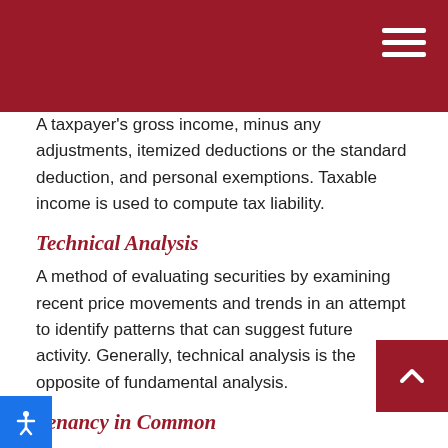A taxpayer's gross income, minus any adjustments, itemized deductions or the standard deduction, and personal exemptions. Taxable income is used to compute tax liability.
Technical Analysis
A method of evaluating securities by examining recent price movements and trends in an attempt to identify patterns that can suggest future activity. Generally, technical analysis is the opposite of fundamental analysis.
Tenancy in Common
A form of property ownership under which two or more people have an undivided interest in the property and in which the interest of a deceased owner passes to his or her beneficiaries rather than to the surviving